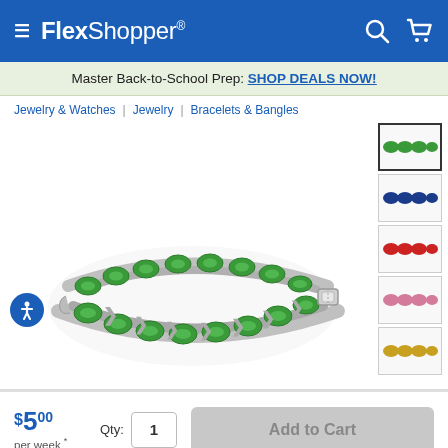FlexShopper
Master Back-to-School Prep: SHOP DEALS NOW!
Jewelry & Watches | Jewelry | Bracelets & Bangles
[Figure (photo): Green crystal and silver XO tennis bracelet, showing oval green gemstones alternating with X-shaped silver links, displayed against white background. Multiple thumbnail images on the right show variations in different colors.]
$5.00 per week *   Qty: 1   Add to Cart